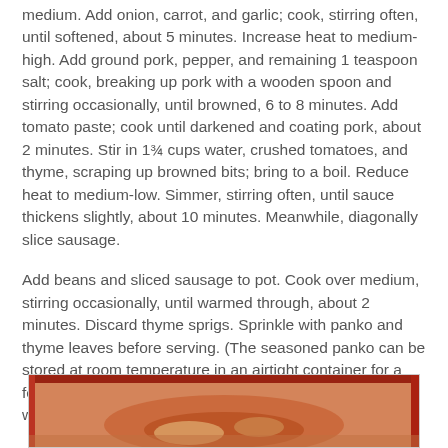medium. Add onion, carrot, and garlic; cook, stirring often, until softened, about 5 minutes. Increase heat to medium-high. Add ground pork, pepper, and remaining 1 teaspoon salt; cook, breaking up pork with a wooden spoon and stirring occasionally, until browned, 6 to 8 minutes. Add tomato paste; cook until darkened and coating pork, about 2 minutes. Stir in 1¾ cups water, crushed tomatoes, and thyme, scraping up browned bits; bring to a boil. Reduce heat to medium-low. Simmer, stirring often, until sauce thickens slightly, about 10 minutes. Meanwhile, diagonally slice sausage.
Add beans and sliced sausage to pot. Cook over medium, stirring occasionally, until warmed through, about 2 minutes. Discard thyme sprigs. Sprinkle with panko and thyme leaves before serving. (The seasoned panko can be stored at room temperature in an airtight container for a few days, while the rest of the stew is refrigerated and warmed up before being topped and served.)
[Figure (photo): Partial view of a food dish in a bowl, showing a stew with orange/red sauce, partially visible at the bottom of the page.]